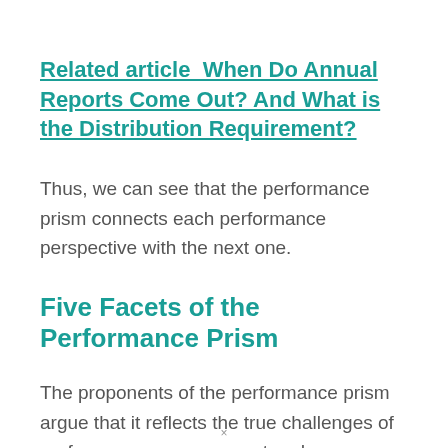Related article  When Do Annual Reports Come Out? And What is the Distribution Requirement?
Thus, we can see that the performance prism connects each performance perspective with the next one.
Five Facets of the Performance Prism
The proponents of the performance prism argue that it reflects the true challenges of performance measurement and management.
×